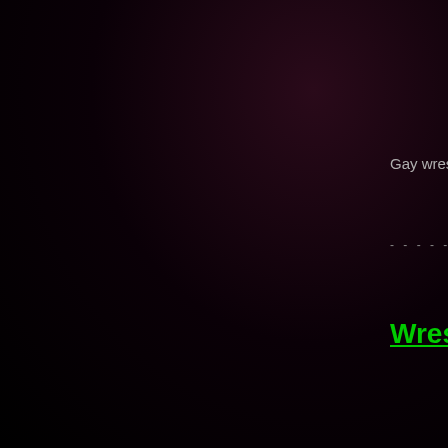Gay wrestling porn v
- - - - - - - - - - - - - - - - - - - -
Wrestling ga